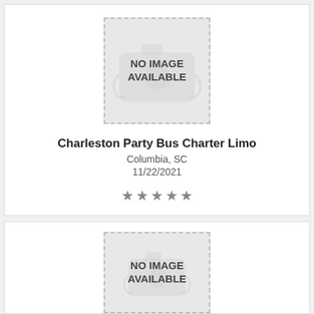[Figure (other): No image available placeholder with dashed border and camera icon watermark]
Charleston Party Bus Charter Limo
Columbia, SC
11/22/2021
[Figure (other): Star rating: 5 stars (gray/outlined)]
[Figure (other): No image available placeholder with dashed border and camera icon watermark (second listing, partially visible)]